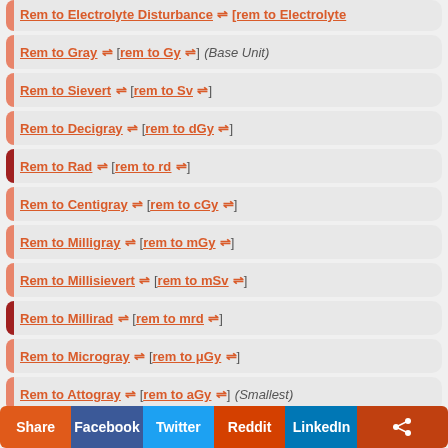Rem to Electrolyte Disturbance ⇌ [rem to Electrolyte
Rem to Gray ⇌ [rem to Gy ⇌] (Base Unit)
Rem to Sievert ⇌ [rem to Sv ⇌]
Rem to Decigray ⇌ [rem to dGy ⇌]
Rem to Rad ⇌ [rem to rd ⇌]
Rem to Centigray ⇌ [rem to cGy ⇌]
Rem to Milligray ⇌ [rem to mGy ⇌]
Rem to Millisievert ⇌ [rem to mSv ⇌]
Rem to Millirad ⇌ [rem to mrd ⇌]
Rem to Microgray ⇌ [rem to μGy ⇌]
Rem to Attogray ⇌ [rem to aGy ⇌] (Smallest)
Share | Facebook | Twitter | Reddit | LinkedIn